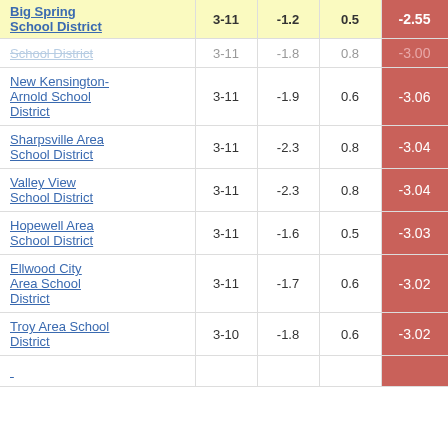| School District | Grades | Col3 | Col4 | Score |
| --- | --- | --- | --- | --- |
| Big Spring School District | 3-11 | -1.2 | 0.5 | -2.55 |
| School District | 3-11 | -1.8 | 0.8 | -3.00 |
| New Kensington-Arnold School District | 3-11 | -1.9 | 0.6 | -3.06 |
| Sharpsville Area School District | 3-11 | -2.3 | 0.8 | -3.04 |
| Valley View School District | 3-11 | -2.3 | 0.8 | -3.04 |
| Hopewell Area School District | 3-11 | -1.6 | 0.5 | -3.03 |
| Ellwood City Area School District | 3-11 | -1.7 | 0.6 | -3.02 |
| Troy Area School District | 3-10 | -1.8 | 0.6 | -3.02 |